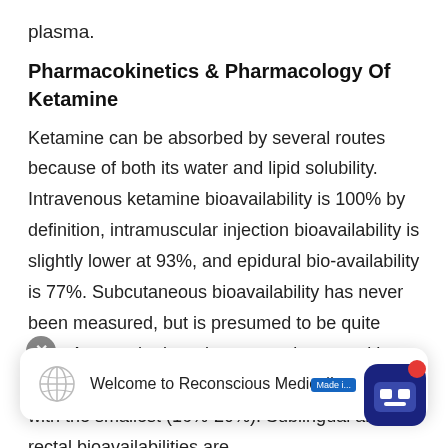plasma.
Pharmacokinetics & Pharmacology Of Ketamine
Ketamine can be absorbed by several routes because of both its water and lipid solubility. Intravenous ketamine bioavailability is 100% by definition, intramuscular injection bioavailability is slightly lower at 93%, and epidural bio-availability is 77%. Subcutaneous bioavailability has never been measured, but is presumed to be quite high. Among the invasive routes, intranasal has the maximum bioavailability (45%-50%) and oral with the smallest (16%-20%). Sublingual and rectal bioavailabilities are int... p ket... as other tissues. The plasma protein binding of